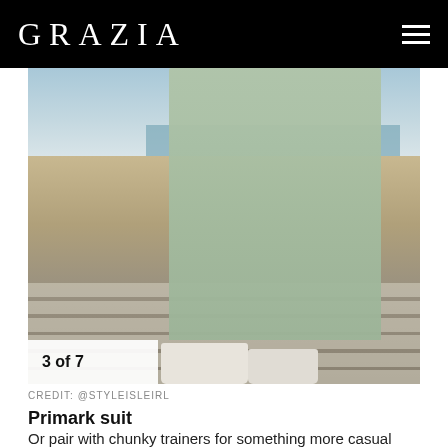GRAZIA
[Figure (photo): Person wearing a mint/sage green suit with white chunky sneakers, walking on a zebra crossing in an outdoor coastal setting. Only the torso and legs are visible. Background shows a promenade with palm trees, columns, and sea.]
3 of 7
CREDIT: @STYLEISLEIRL
Primark suit
Or pair with chunky trainers for something more casual